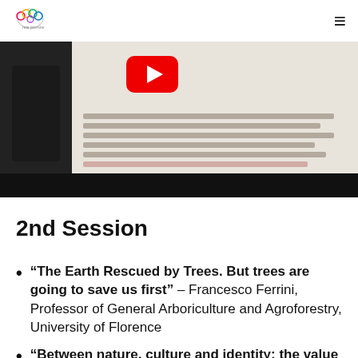Cervia logo and hamburger menu
[Figure (screenshot): Screenshot of a video or web page with a YouTube logo in red, dark left panel with a figure, and blurred text content on a light background. Dark bar at bottom.]
2nd Session
“The Earth Rescued by Trees. But trees are going to save us first” – Francesco Ferrini, Professor of General Arboriculture and Agroforestry, University of Florence
“Between nature, culture and identity: the value of tree